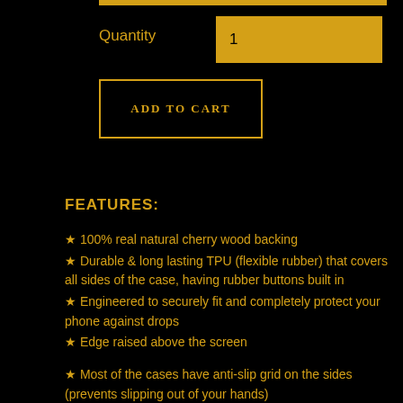Quantity   1
ADD TO CART
FEATURES:
★ 100% real natural cherry wood backing
★ Durable & long lasting TPU (flexible rubber) that covers all sides of the case, having rubber buttons built in
★ Engineered to securely fit and completely protect your phone against drops
★ Edge raised above the screen
★ Most of the cases have anti-slip grid on the sides (prevents slipping out of your hands)